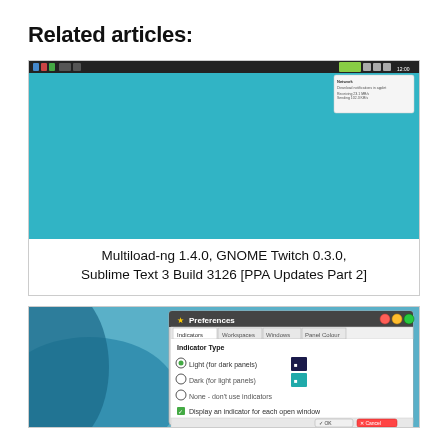Related articles:
[Figure (screenshot): Screenshot of Multiload-ng application on a Linux desktop with GNOME panel, showing the main configuration window and an advanced configuration dialog.]
Multiload-ng 1.4.0, GNOME Twitch 0.3.0, Sublime Text 3 Build 3126 [PPA Updates Part 2]
[Figure (screenshot): Screenshot of a Preferences dialog with tabs: Indicators, Workspaces, Windows, Panel Colour. Shows Indicator Type options: Light (for dark panels), Dark (for light panels), None - don't use indicators, Display an indicator for each open window. OK and Cancel buttons at bottom.]